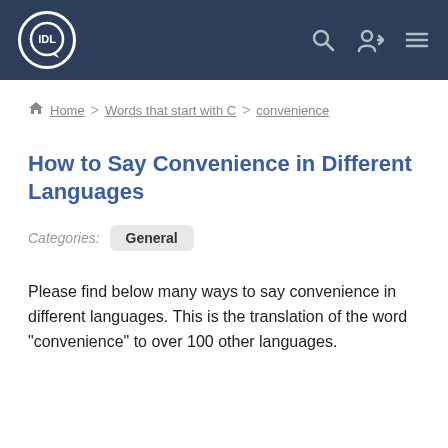IDL
Home > Words that start with C > convenience
How to Say Convenience in Different Languages
Categories: General
Please find below many ways to say convenience in different languages. This is the translation of the word "convenience" to over 100 other languages.